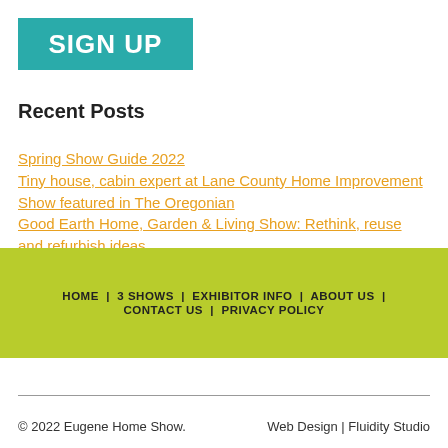[Figure (other): Teal/turquoise SIGN UP button banner]
Recent Posts
Spring Show Guide 2022
Tiny house, cabin expert at Lane County Home Improvement Show featured in The Oregonian
Good Earth Home, Garden & Living Show: Rethink, reuse and refurbish ideas
Gear up for Gardening!
Good Earth Home Show raises $21,969 for Haitian relief effort
HOME | 3 SHOWS | EXHIBITOR INFO | ABOUT US | CONTACT US | PRIVACY POLICY
© 2022 Eugene Home Show.   Web Design | Fluidity Studio